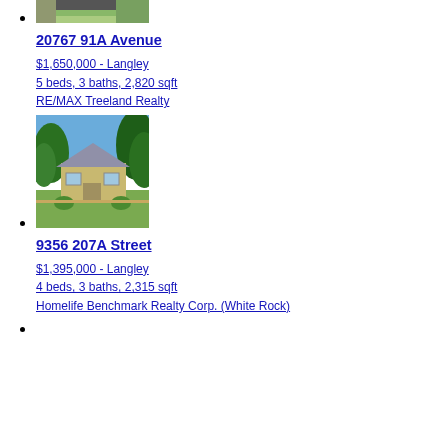[Figure (photo): Top of house/driveway photo, partially cropped]
20767 91A Avenue
$1,650,000 - Langley
5 beds, 3 baths, 2,820 sqft
RE/MAX Treeland Realty
[Figure (photo): House with blue sky, trees, and beige exterior]
9356 207A Street
$1,395,000 - Langley
4 beds, 3 baths, 2,315 sqft
Homelife Benchmark Realty Corp. (White Rock)